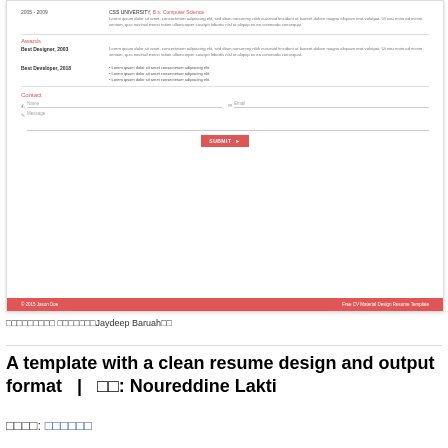[Figure (screenshot): Screenshot of a CV/resume web template showing Awards and Contact sections with a red submit button and red footer bar.]
□□□□□□□□□ □□□□□□□Jaydeep Baruah□□
A template with a clean resume design and output format  |  □□: Noureddine Lakti
□□□□: □□□□□□